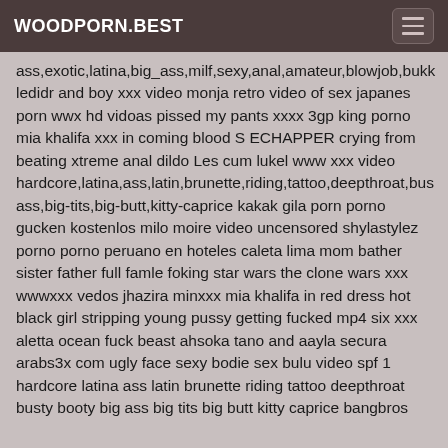WOODPORN.BEST
ass,exotic,latina,big_ass,milf,sexy,anal,amateur,blowjob,bukk ledidr and boy xxx video monja retro video of sex japanes porn wwx hd vidoas pissed my pants xxxx 3gp king porno mia khalifa xxx in coming blood S ECHAPPER crying from beating xtreme anal dildo Les cum lukel www xxx video hardcore,latina,ass,latin,brunette,riding,tattoo,deepthroat,bus ass,big-tits,big-butt,kitty-caprice kakak gila porn porno gucken kostenlos milo moire video uncensored shylastylez porno porno peruano en hoteles caleta lima mom bather sister father full famle foking star wars the clone wars xxx wwwxxx vedos jhazira minxxx mia khalifa in red dress hot black girl stripping young pussy getting fucked mp4 six xxx aletta ocean fuck beast ahsoka tano and aayla secura arabs3x com ugly face sexy bodie sex bulu video spf 1 hardcore latina ass latin brunette riding tattoo deepthroat busty booty big ass big tits big butt kitty caprice bangbros